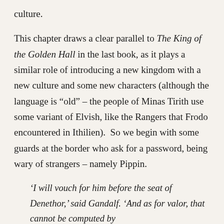culture.
This chapter draws a clear parallel to The King of the Golden Hall in the last book, as it plays a similar role of introducing a new kingdom with a new culture and some new characters (although the language is “old” – the people of Minas Tirith use some variant of Elvish, like the Rangers that Frodo encountered in Ithilien).  So we begin with some guards at the border who ask for a password, being wary of strangers – namely Pippin.
‘I will vouch for him before the seat of Denethor,’ said Gandalf. ‘And as for valor, that cannot be computed by